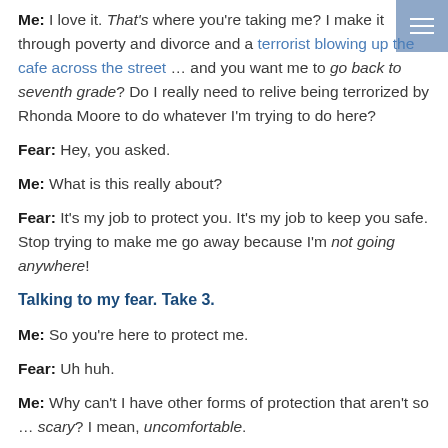Me: I love it. That's where you're taking me? I make it through poverty and divorce and a terrorist blowing up the cafe across the street … and you want me to go back to seventh grade? Do I really need to relive being terrorized by Rhonda Moore to do whatever I'm trying to do here?
Fear: Hey, you asked.
Me: What is this really about?
Fear: It's my job to protect you. It's my job to keep you safe. Stop trying to make me go away because I'm not going anywhere!
Talking to my fear. Take 3.
Me: So you're here to protect me.
Fear: Uh huh.
Me: Why can't I have other forms of protection that aren't so … scary? I mean, uncomfortable.